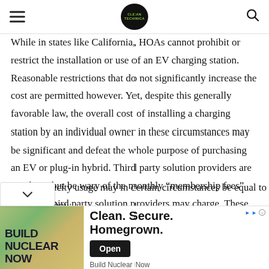CleanTechnica header with hamburger menu and search icon
While in states like California, HOAs cannot prohibit or restrict the installation or use of an EV charging station.  Reasonable restrictions that do not significantly increase the cost are permitted however.  Yet, despite this generally favorable law, the overall cost of installing a charging station by an individual owner in these circumstances may be significant and defeat the whole purpose of purchasing an EV or plug-in hybrid.  Third party solution providers are out there, but be wary of the monthly “membership fees” that such third party solution providers may charge.  These “membership fees” combined with the payment for …icity usage may in certain circumstances be equal to how
[Figure (infographic): Advertisement banner: Build Nuclear Now - Clean. Secure. Homemade. with an Open button]